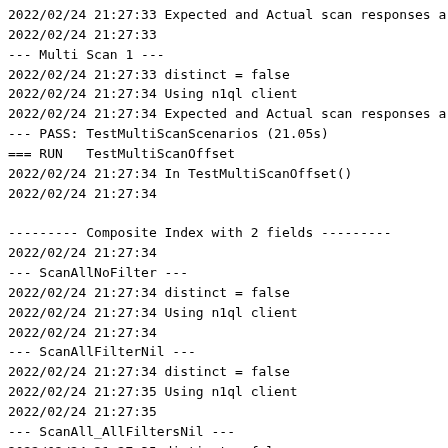2022/02/24 21:27:33 Expected and Actual scan responses ar
2022/02/24 21:27:33
--- Multi Scan 1 ---
2022/02/24 21:27:33 distinct = false
2022/02/24 21:27:34 Using n1ql client
2022/02/24 21:27:34 Expected and Actual scan responses ar
--- PASS: TestMultiScanScenarios (21.05s)
=== RUN   TestMultiScanOffset
2022/02/24 21:27:34 In TestMultiScanOffset()
2022/02/24 21:27:34

--------- Composite Index with 2 fields ---------
2022/02/24 21:27:34
--- ScanAllNoFilter ---
2022/02/24 21:27:34 distinct = false
2022/02/24 21:27:34 Using n1ql client
2022/02/24 21:27:34
--- ScanAllFilterNil ---
2022/02/24 21:27:34 distinct = false
2022/02/24 21:27:35 Using n1ql client
2022/02/24 21:27:35
--- ScanAll_AllFiltersNil ---
2022/02/24 21:27:35 distinct = false
2022/02/24 21:27:35 Using n1ql client
2022/02/24 21:27:35
--- SingleSeek ---
2022/02/24 21:27:35 distinct = false
2022/02/24 21:27:35 Using n1ql client
2022/02/24 21:27:35
--- MultipleSeek ---